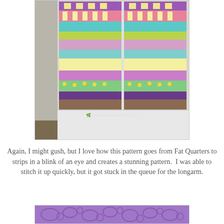[Figure (photo): A colorful zigzag/bargello-style quilt hanging on a wall, displayed in two panels side by side. The quilt features horizontal bands of purple, yellow, pink, teal/turquoise, green, and floral fabrics forming a striped wave pattern. A watermark reads 'buttonsandbutterflies.com' at the bottom of the image.]
Again, I might gush, but I love how this pattern goes from Fat Quarters to strips in a blink of an eye and creates a stunning pattern.  I was able to stitch it up quickly, but it got stuck in the queue for the longarm.
[Figure (photo): A close-up photo of a purple textured fabric or quilting design with swirling embossed patterns.]